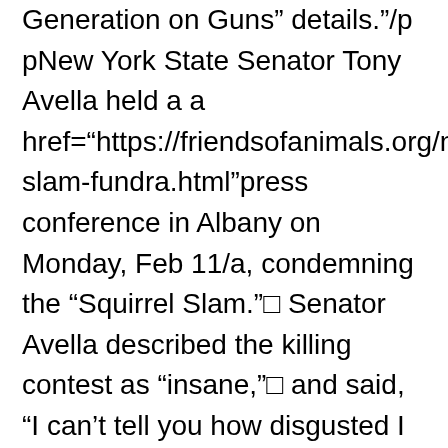Generation on Guns” details.”/p pNew York State Senator Tony Avella held a a href=“https://friendsofanimals.org/news/2013slam-fundra.html”press conference in Albany on Monday, Feb 11/a, condemning the “Squirrel Slam.”□ Senator Avella described the killing contest as “insane,”□ and said, “I can’t tell you how disgusted I am at this event.”□ The organizers of this event are sending the wrong message and should be ashamed of themselves. I urge them to cancel this mass squirrel-killing